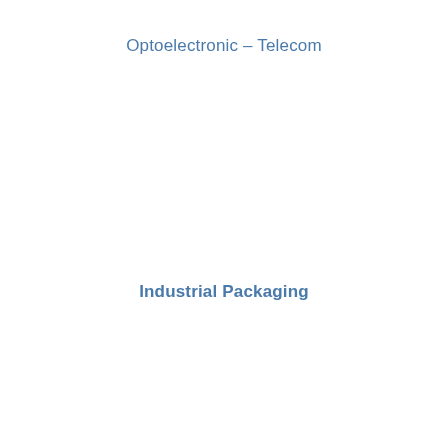Optoelectronic – Telecom
Industrial Packaging